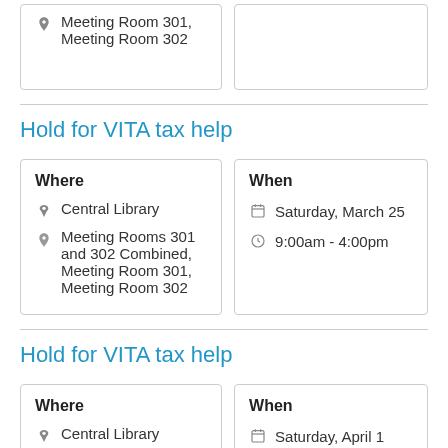Meeting Room 301, Meeting Room 302
Hold for VITA tax help
Where: Central Library, Meeting Rooms 301 and 302 Combined, Meeting Room 301, Meeting Room 302
When: Saturday, March 25, 9:00am - 4:00pm
Hold for VITA tax help
Where: Central Library
When: Saturday, April 1